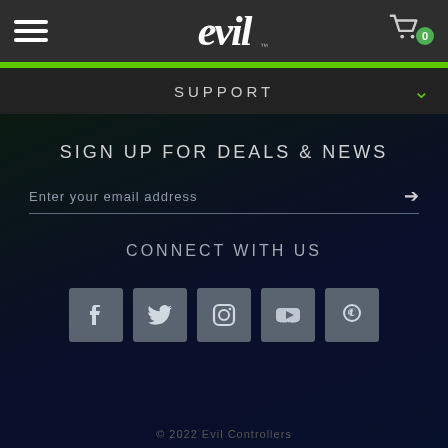[Figure (logo): Evil Controllers logo — stylized gothic 'evil' text in white on dark gray header background]
SUPPORT
SIGN UP FOR DEALS & NEWS
Enter your email address
CONNECT WITH US
[Figure (infographic): Row of 5 social media icon buttons: Facebook, Twitter, Instagram, YouTube, Pinterest]
© 2022 Evil Controllers